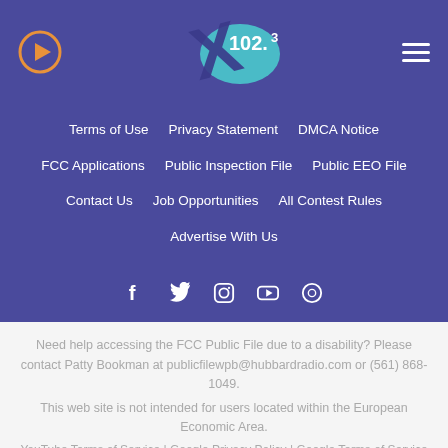[Figure (logo): X 102.3 radio station logo on blue-green oval with stylized X]
Terms of Use | Privacy Statement | DMCA Notice
FCC Applications | Public Inspection File | Public EEO File
Contact Us | Job Opportunities | All Contest Rules
Advertise With Us
[Figure (illustration): Social media icons: Facebook, Twitter, Instagram, YouTube, GitHub]
Need help accessing the FCC Public File due to a disability? Please contact Patty Bookman at publicfilewpb@hubbardradio.com or (561) 868-1049.
This web site is not intended for users located within the European Economic Area.
YouTube Terms of Service | Google Privacy Policy | Google Terms of Service | Do not sell my info - CA Residents Only